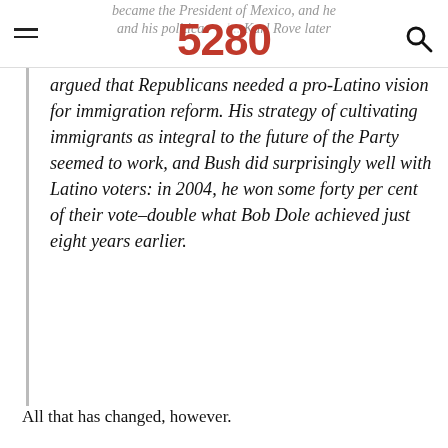became the President of Mexico, and he and his political… Karl Rove later | 5280 logo | search icon
argued that Republicans needed a pro-Latino vision for immigration reform. His strategy of cultivating immigrants as integral to the future of the Party seemed to work, and Bush did surprisingly well with Latino voters: in 2004, he won some forty per cent of their vote–double what Bob Dole achieved just eight years earlier.
All that has changed, however.
The rise of Tancredoism has been aided and abetted by a number of factors, including an absence of strong leadership